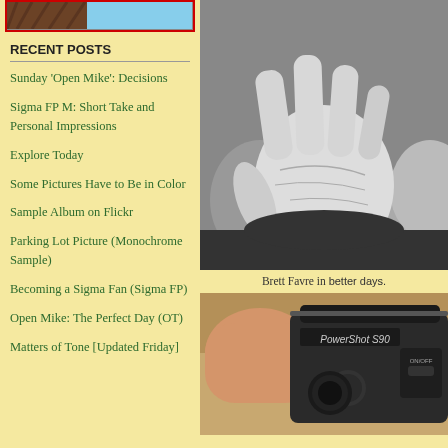[Figure (photo): Partial image at top left, appears to show a cat or animal with red border frame, cropped]
RECENT POSTS
Sunday 'Open Mike': Decisions
Sigma FP M: Short Take and Personal Impressions
Explore Today
Some Pictures Have to Be in Color
Sample Album on Flickr
Parking Lot Picture (Monochrome Sample)
Becoming a Sigma Fan (Sigma FP)
Open Mike: The Perfect Day (OT)
Matters of Tone [Updated Friday]
[Figure (photo): Black and white photo of a man (Brett Favre) holding up his hand/palm toward camera, crowd in background]
Brett Favre in better days.
[Figure (photo): Close-up photo of fingers holding a Canon PowerShot S90 camera, showing ON/OFF button and camera controls]